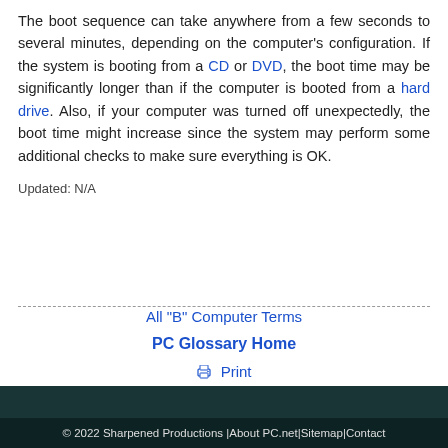The boot sequence can take anywhere from a few seconds to several minutes, depending on the computer's configuration. If the system is booting from a CD or DVD, the boot time may be significantly longer than if the computer is booted from a hard drive. Also, if your computer was turned off unexpectedly, the boot time might increase since the system may perform some additional checks to make sure everything is OK.
Updated: N/A
All "B" Computer Terms
PC Glossary Home
Print
© 2022 Sharpened Productions | About PC.net | Sitemap | Contact